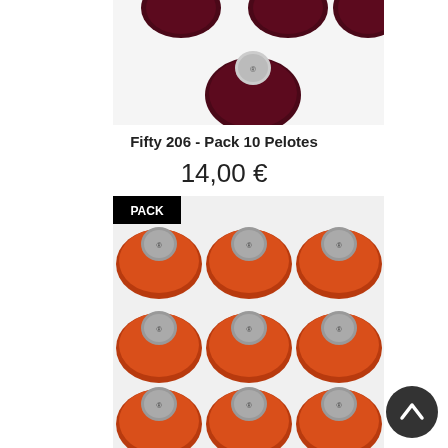[Figure (photo): Burgundy/dark red yarn balls on white background, showing a single ball with a brand label on top]
Fifty 206 - Pack 10 Pelotes
14,00 €
[Figure (photo): 9 orange/red yarn balls arranged in a 3x3 grid on white background, each with a brand label on top. A 'PACK' badge is visible in the top-left corner. A dark circular scroll-to-top button is visible in the bottom-right corner.]